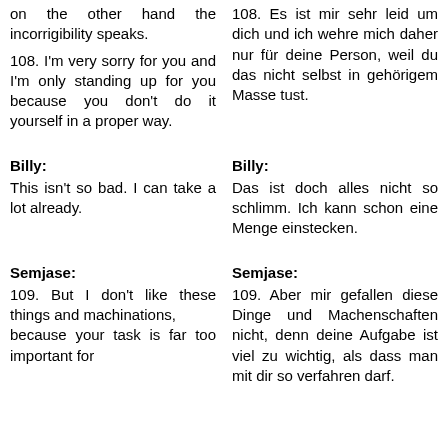on the other hand the incorrigibility speaks.
108. I'm very sorry for you and I'm only standing up for you because you don't do it yourself in a proper way.
108. Es ist mir sehr leid um dich und ich wehre mich daher nur für deine Person, weil du das nicht selbst in gehörigem Masse tust.
Billy:
Billy:
This isn't so bad. I can take a lot already.
Das ist doch alles nicht so schlimm. Ich kann schon eine Menge einstecken.
Semjase:
Semjase:
109. But I don't like these things and machinations, because your task is far too important for
109. Aber mir gefallen diese Dinge und Machenschaften nicht, denn deine Aufgabe ist viel zu wichtig, als dass man mit dir so verfahren darf.